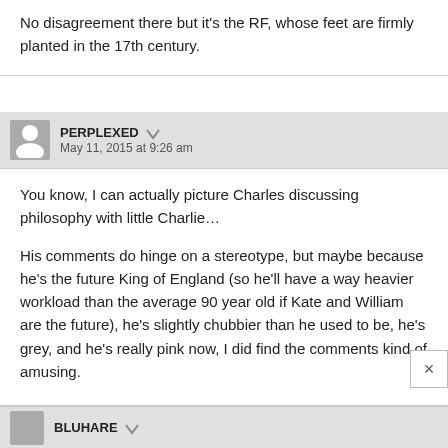No disagreement there but it's the RF, whose feet are firmly planted in the 17th century.
PERPLEXED — May 11, 2015 at 9:26 am
You know, I can actually picture Charles discussing philosophy with little Charlie...
His comments do hinge on a stereotype, but maybe because he's the future King of England (so he'll have a way heavier workload than the average 90 year old if Kate and William are the future), he's slightly chubbier than he used to be, he's grey, and he's really pink now, I did find the comments kind of amusing.
BLUHARE